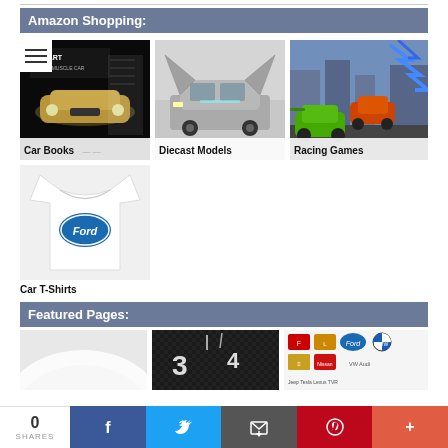Amazon Shopping:
[Figure (photo): Car book cover showing a classic muscle car on a black background with text 'The Art of the Muscle Car']
Car Books
[Figure (photo): Diecast model DeLorean car with gull-wing doors open]
Diecast Models
[Figure (photo): Racing video game screenshot with colorful sports cars on a city track]
Racing Games
[Figure (photo): White Ford logo t-shirt displayed on a white background]
Car T-Shirts
Featured Pages:
[Figure (photo): White curved surface, possibly a car panel]
[Figure (photo): Close-up of a car dial/gauge with numbers 3 and 4 visible on dark carbon fiber]
[Figure (photo): Grid of car brand logos including Ferrari, Ford, Chevrolet, Nissan, BMW and others]
0 SHARES